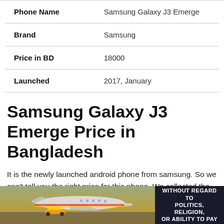|  |  |
| --- | --- |
| Phone Name | Samsung Galaxy J3 Emerge |
| Brand | Samsung |
| Price in BD | 18000 |
| Launched | 2017, January |
Samsung Galaxy J3 Emerge Price in Bangladesh
It is the newly launched android phone from samsung. So we can't tell you the right price for this phone. We collected the price from USD or Euro Amount. samsung is one of the famous phone brand in Bangladesh. The cost of
[Figure (photo): Advertisement banner at the bottom showing a cargo airplane being loaded, with an overlay text box saying WITHOUT REGARD TO POLITICS, RELIGION, OR ABILITY TO PAY]